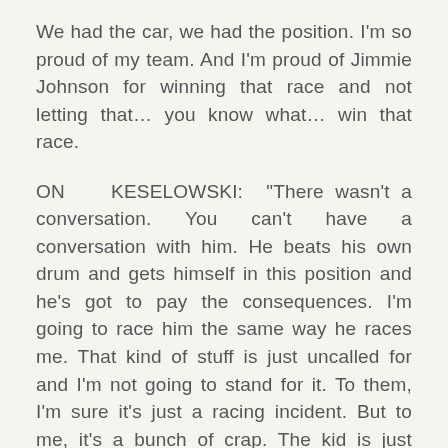We had the car, we had the position. I'm so proud of my team. And I'm proud of Jimmie Johnson for winning that race and not letting that… you know what… win that race.
ON KESELOWSKI: "There wasn't a conversation. You can't have a conversation with him. He beats his own drum and gets himself in this position and he's got to pay the consequences. I'm going to race him the same way he races me. That kind of stuff is just uncalled for and I'm not going to stand for it. To them, I'm sure it's just a racing incident. But to me, it's a bunch of crap. The kid is just doing stuff way over his head. To me, that's just uncalled for. You're racing for a win and a championship. You don't go slam somebody out of their line or position. If I talked to him, I...